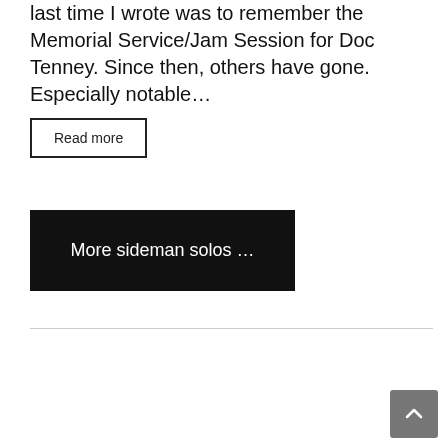last time I wrote was to remember the Memorial Service/Jam Session for Doc Tenney.  Since then, others have gone.  Especially notable…
Read more
More sideman solos …